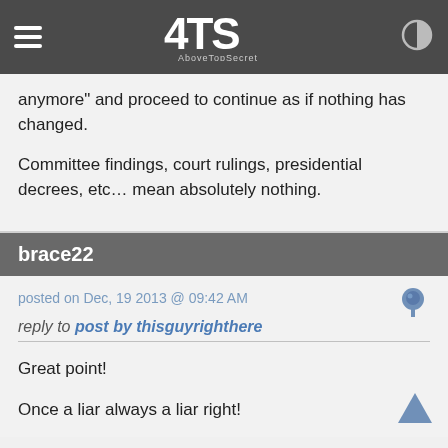ATS AboveTopSecret
anymore" and proceed to continue as if nothing has changed.

Committee findings, court rulings, presidential decrees, etc… mean absolutely nothing.
brace22
posted on Dec, 19 2013 @ 09:42 AM
reply to post by thisguyrighthere
Great point!

Once a liar always a liar right!